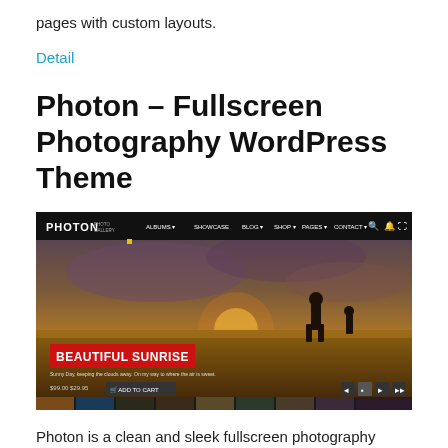pages with custom layouts.
Detail
Photon – Fullscreen Photography WordPress Theme
[Figure (screenshot): Screenshot of the Photon WordPress theme showing a fullscreen photography layout with a dark navigation bar at the top reading PHOTON with menu items ALBUMS, SHOWCASE, BLOG, SHOP, PAGES, CONTACT, and a dramatic sunset landscape photo with a silhouetted figure. A red banner reads BEAUTIFUL SUNRISE with an ADD TO CART button below it.]
Photon is a clean and sleek fullscreen photography